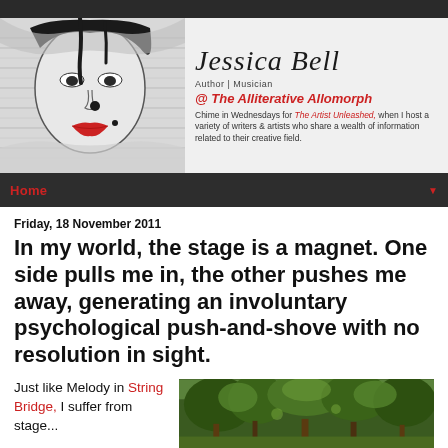[Figure (illustration): Blog header banner for Jessica Bell, Author/Musician at The Alliterative Allomorph. Left half shows a black and white illustrated face of a woman with red lips. Right half shows the name 'Jessica Bell' in large italic script, subtitle 'Author | Musician', then '@ The Alliterative Allomorph' in red italic, and a description about Wednesday posts for The Artist Unleashed.]
Home ▼
Friday, 18 November 2011
In my world, the stage is a magnet. One side pulls me in, the other pushes me away, generating an involuntary psychological push-and-shove with no resolution in sight.
Just like Melody in String Bridge, I suffer from stage...